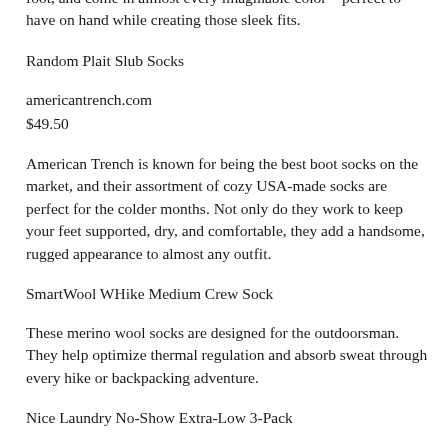created these Uniqlo options. They give you a serious bang for your buck, feature anti-odor technology, fit snugly against your foot, and come in almost every imaginable color—perfect to have on hand while creating those sleek fits.
Random Plait Slub Socks
americantrench.com
$49.50
American Trench is known for being the best boot socks on the market, and their assortment of cozy USA-made socks are perfect for the colder months. Not only do they work to keep your feet supported, dry, and comfortable, they add a handsome, rugged appearance to almost any outfit.
SmartWool WHike Medium Crew Sock
These merino wool socks are designed for the outdoorsman. They help optimize thermal regulation and absorb sweat through every hike or backpacking adventure.
Nice Laundry No-Show Extra-Low 3-Pack